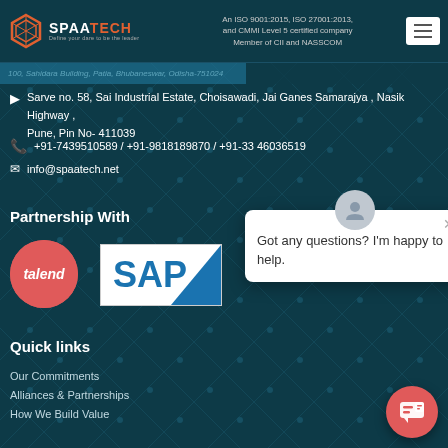SPAATECH — An ISO 9001:2015, ISO 27001:2013, and CMMI Level 5 certified company. Member of CII and NASSCOM.
100, Sahidara Building, Patia, Bhubaneswar, Odisha-751024
Sarve no. 58, Sai Industrial Estate, Choisawadi, Jai Ganes Samarajya , Nasik Highway , Pune, Pin No- 411039
+91-7439510589 / +91-9818189870 / +91-33 46036519
info@spaatech.net
Partnership With
[Figure (logo): Talend logo — red circle with white italic text 'talend']
[Figure (logo): SAP logo — white rectangle with blue SAP lettering and blue triangle accent]
[Figure (other): Chat popup widget: avatar icon, close X button, text 'Got any questions? I'm happy to help.']
Quick links
Our Commitments
Alliances & Partnerships
How We Build Value